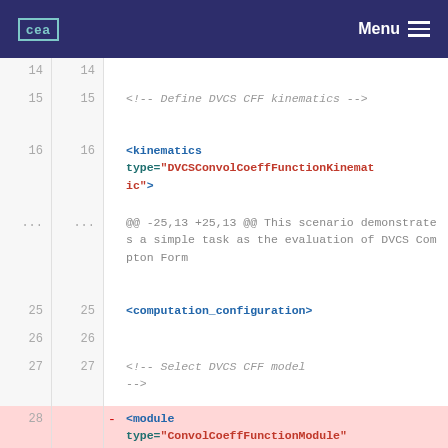CEA | Menu
14  14
15  15  <!-- Define DVCS CFF kinematics -->
16  16  <kinematics type="DVCSConvolCoeffFunctionKinematic">
...  ...  @@ -25,13 +25,13 @@ This scenario demonstrates a simple task as the evaluation of DVCS Compton Form
25  25  <computation_configuration>
26  26
27  27  <!-- Select DVCS CFF model -->
28      - <module type="ConvolCoeffFunctionModule" name="DVCSCFFStandard">
    28  + <module type="DVCSConvolCoeffFunctionModule" name="DVCSCFFStandard">
29  29